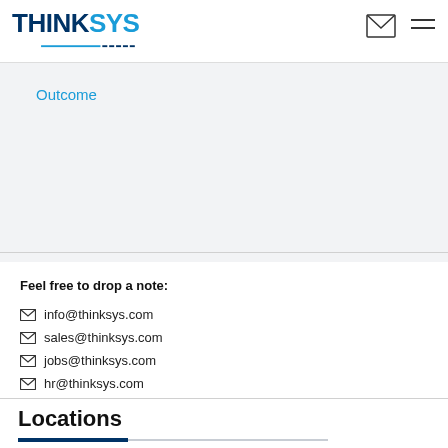THINKSYS
Outcome
Feel free to drop a note:
info@thinksys.com
sales@thinksys.com
jobs@thinksys.com
hr@thinksys.com
Locations